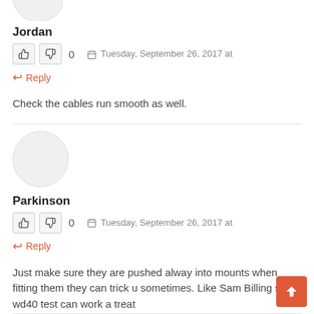[Figure (illustration): Partial avatar circle (top cropped) for Jordan]
Jordan
👍 👎 0   📅 Tuesday, September 26, 2017 at
↩ Reply
Check the cables run smooth as well.
[Figure (illustration): Avatar circle for Parkinson]
Parkinson
👍 👎 0   📅 Tuesday, September 26, 2017 at
↩ Reply
Just make sure they are pushed alway into mounts when fitting them they can trick u sometimes. Like Sam Billing says wd40 test can work a treat